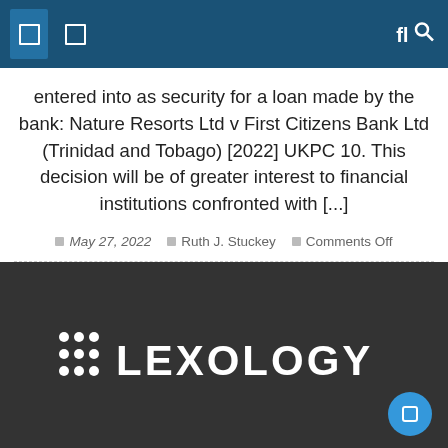Navigation bar with icons
entered into as security for a loan made by the bank: Nature Resorts Ltd v First Citizens Bank Ltd (Trinidad and Tobago) [2022] UKPC 10. This decision will be of greater interest to financial institutions confronted with [...]
May 27, 2022   Ruth J. Stuckey   Comments Off
[Figure (logo): Lexology logo on dark background with 3x3 dot grid and text LEXOLOGY in white]